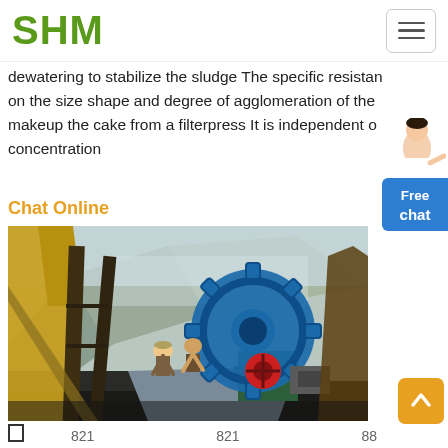SHM
dewatering to stabilize the sludge The specific resistance depends on the size shape and degree of agglomeration of the particles that makeup the cake from a filterpress It is independent of concentration
Chat Online
[Figure (photo): Industrial sand washing machine with large blue gear wheel in outdoor mining/construction site, workers visible, mountains in background]
821   821   88